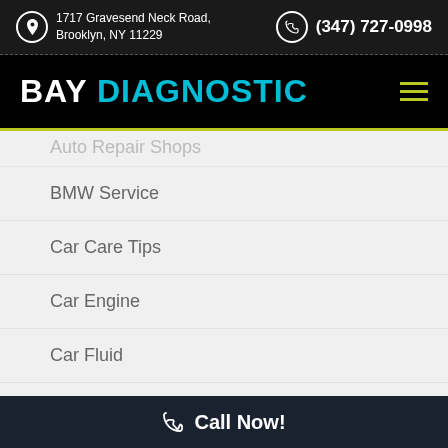1717 Gravesend Neck Road, Brooklyn, NY 11229 | (347) 727-0998
BAY DIAGNOSTIC
Auto Repair Shops
BMW Service
Car Care Tips
Car Engine
Car Fluid
Car Info
Call Now!